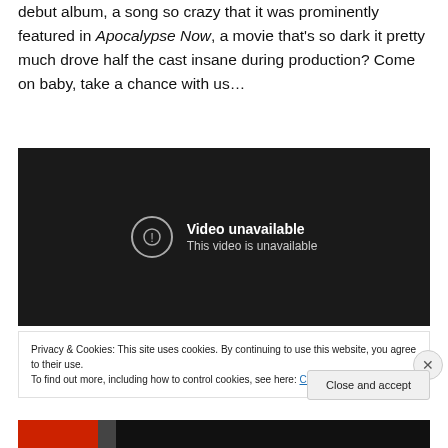debut album, a song so crazy that it was prominently featured in Apocalypse Now, a movie that's so dark it pretty much drove half the cast insane during production? Come on baby, take a chance with us…
[Figure (screenshot): Embedded video player showing 'Video unavailable - This video is unavailable' message on a dark background]
Privacy & Cookies: This site uses cookies. By continuing to use this website, you agree to their use.
To find out more, including how to control cookies, see here: Cookie Policy
Close and accept